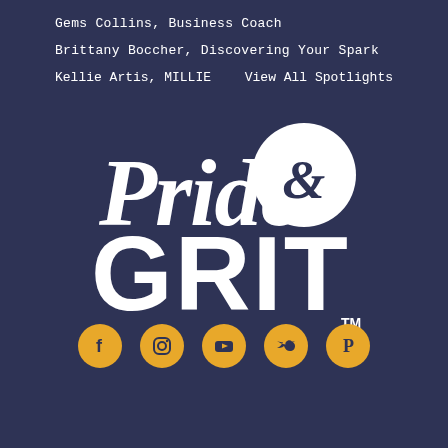Gems Collins, Business Coach
Brittany Boccher, Discovering Your Spark
Kellie Artis, MILLIE
View All Spotlights
[Figure (logo): Pride & Grit logo in white script and bold text on dark navy background with TM mark]
[Figure (infographic): Row of 5 golden circular social media icons: Facebook, Instagram, YouTube, Twitter, Pinterest]